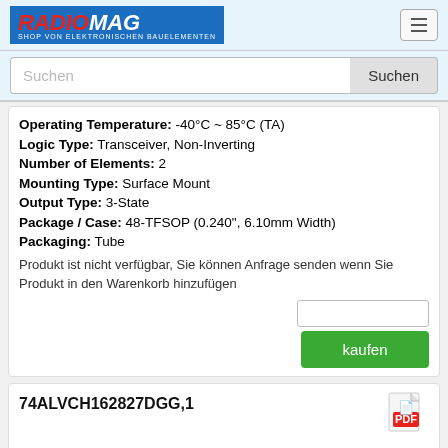RADIOMAG - SHOP VON ELEKTRONISCHEN BAUELEMENTEN
Suchen
Operating Temperature: -40°C ~ 85°C (TA)
Logic Type: Transceiver, Non-Inverting
Number of Elements: 2
Mounting Type: Surface Mount
Output Type: 3-State
Package / Case: 48-TFSOP (0.240", 6.10mm Width)
Packaging: Tube
Produkt ist nicht verfügbar, Sie können Anfrage senden wenn Sie Produkt in den Warenkorb hinzufügen
74ALVCH162827DGG,1
[Figure (illustration): Product image placeholder for 74ALVCH162827DGG,1]
Hersteller: Nexperia USA Inc.
Description: IC BUF NON-INVERT 3.6V 56TSSOP
Packaging: Tape & Reel (TR)
Package / Case: 56-TFSOP (0.240", 6.10mm